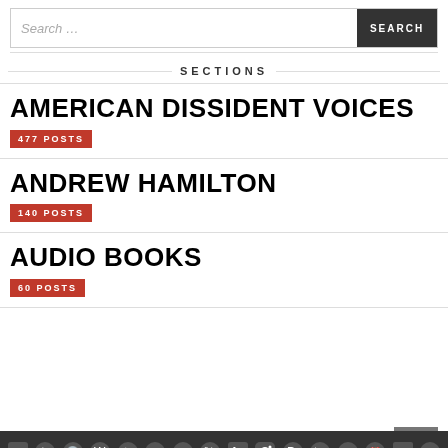Search …  SEARCH
SECTIONS
AMERICAN DISSIDENT VOICES
477 POSTS
ANDREW HAMILTON
140 POSTS
AUDIO BOOKS
60 POSTS
Social media icons bar